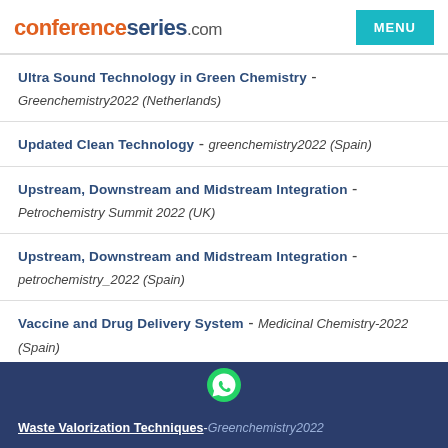conferenceseries.com | MENU
Ultra Sound Technology in Green Chemistry - Greenchemistry2022 (Netherlands)
Updated Clean Technology - greenchemistry2022 (Spain)
Upstream, Downstream and Midstream Integration - Petrochemistry Summit 2022 (UK)
Upstream, Downstream and Midstream Integration - petrochemistry_2022 (Spain)
Vaccine and Drug Delivery System - Medicinal Chemistry-2022 (Spain)
Waste Recycling and Management - Environmental Chemistry 2022 (UK)
Waste Valorization Techniques - Greenchemistry2022